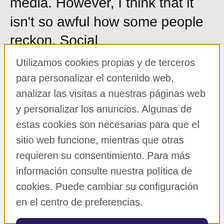media. However, I think that it isn't so awful how some people reckon. Social
Utilizamos cookies propias y de terceros para personalizar el contenido web, analizar las visitas a nuestras páginas web y personalizar los anuncios. Algunas de estas cookies son necesarias para que el sitio web funcione, mientras que otras requieren su consentimiento. Para más información consulte nuestra política de cookies. Puede cambiar su configuración en el centro de preferencias.
Aceptar todas las cookies
Configuración de cookies